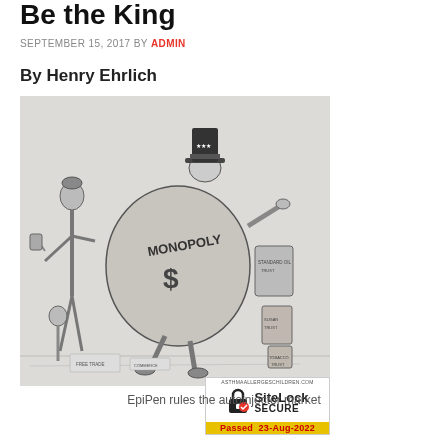Be the King
SEPTEMBER 15, 2017 BY ADMIN
By Henry Ehrlich
[Figure (illustration): Historical political cartoon showing a large rotund figure wearing a top hat and Uncle Sam-style costume, carrying a large money bag labeled 'MONOPOLY $' and pointing, flanked by a smaller figure on the left and barrels/containers labeled with trust-related text on the right. Overlaid with a SiteLock SECURE badge showing 'Passed 23-Aug-2022'.]
EpiPen rules the autoinjector market